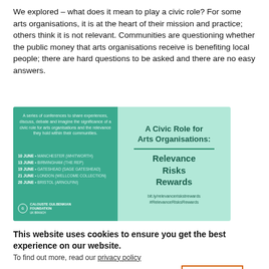We explored – what does it mean to play a civic role? For some arts organisations, it is at the heart of their mission and practice; others think it is not relevant. Communities are questioning whether the public money that arts organisations receive is benefiting local people; there are hard questions to be asked and there are no easy answers.
[Figure (infographic): A Civic Role for Arts Organisations: Relevance Risks Rewards conference promotional image. Left panel (teal): descriptive text about a series of conferences, dates including 10 June Manchester (Whitworth), 13 June Birmingham (The Rep), 19 June Gateshead (Sage Gateshead), 21 June London (Wellcome Collection), 26 June Bristol (Arnolfini), and Calouste Gulbenkian Foundation logo. Right panel (light mint): title 'A Civic Role for Arts Organisations: Relevance Risks Rewards', URL bit.ly/relevanceriskstrewards, hashtag #RelevanceRisksRewards.]
This website uses cookies to ensure you get the best experience on our website. To find out more, read our privacy policy